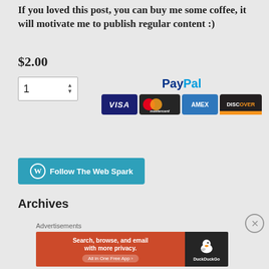If you loved this post, you can buy me some coffee, it will motivate me to publish regular content :)
$2.00
[Figure (screenshot): Quantity input box showing '1' with up/down arrows, and PayPal logo with credit card logos (Visa, Mastercard, AMEX, Discover)]
[Figure (logo): Follow The Web Spark button with WordPress icon]
Archives
Advertisements
[Figure (screenshot): DuckDuckGo advertisement banner: Search, browse, and email with more privacy. All in One Free App]
[Figure (other): Close/X button circle]